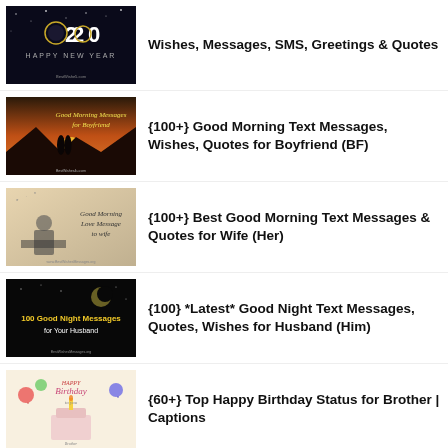Wishes, Messages, SMS, Greetings & Quotes
{100+} Good Morning Text Messages, Wishes, Quotes for Boyfriend (BF)
{100+} Best Good Morning Text Messages & Quotes for Wife (Her)
{100} *Latest* Good Night Text Messages, Quotes, Wishes for Husband (Him)
{60+} Top Happy Birthday Status for Brother | Captions